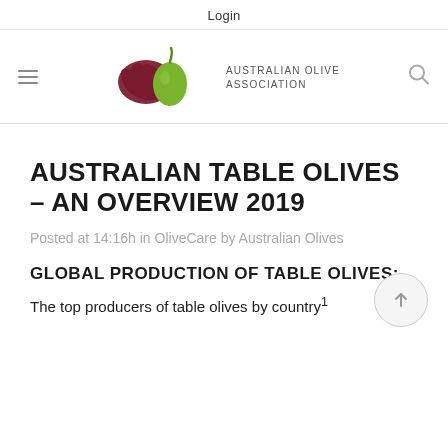Login
[Figure (logo): Australian Olive Association logo: dark red Australia map shape with green olive shape, text 'AUSTRALIAN OLIVE ASSOCIATION']
AUSTRALIAN TABLE OLIVES – AN OVERVIEW 2019
Posted at 14:16h in OliveCare by Australian Olives
GLOBAL PRODUCTION OF TABLE OLIVES:
The top producers of table olives by country¹